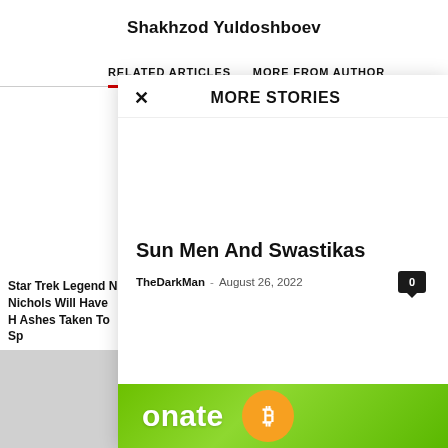Shakhzod Yuldoshboev
RELATED ARTICLES   MORE FROM AUTHOR
MORE STORIES
Star Trek Legend N Nichols Will Have H Ashes Taken To Sp
Sun Men And Swastikas
TheDarkMan - August 26, 2022
[Figure (screenshot): Green donate button with Bitcoin logo, partially visible at bottom of overlay panel]